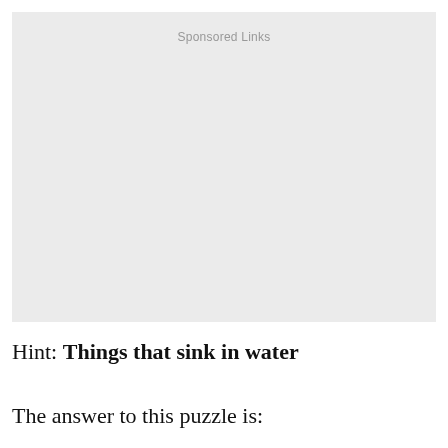[Figure (other): Advertisement placeholder box with 'Sponsored Links' label at top center, light gray background]
Hint: Things that sink in water
The answer to this puzzle is: